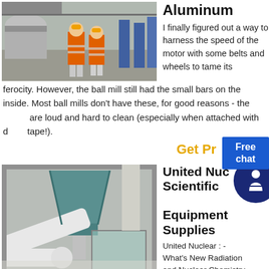[Figure (photo): Two workers in orange safety vests and white hard hats in an industrial setting with machinery and equipment visible in the background]
Aluminum
I finally figured out a way to harness the speed of the motor with some belts and wheels to tame its ferocity. However, the ball mill still had the small bars on the inside. Most ball mills don't have these, for good reasons - they are loud and hard to clean (especially when attached with duct tape!).
Get Pr
[Figure (photo): Industrial milling or grinding equipment with pipes, ducts, and a hopper/funnel component, covered in white powder or dust]
United Nuclear Scientific Equipment Supplies
United Nuclear : - What's New Radiation and Nuclear Chemistry Tools And Equipment
Electronic Electrical General Science General Interest